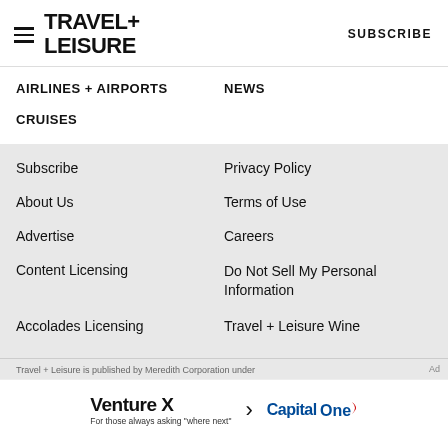Travel + Leisure — SUBSCRIBE
AIRLINES + AIRPORTS
NEWS
CRUISES
Subscribe
Privacy Policy
About Us
Terms of Use
Advertise
Careers
Content Licensing
Do Not Sell My Personal Information
Accolades Licensing
Travel + Leisure Wine
Travel + Leisure is published by Meredith Corporation under
[Figure (other): Capital One Venture X advertisement banner: 'Venture X — For those always asking where next' with Capital One logo and chevron arrow]